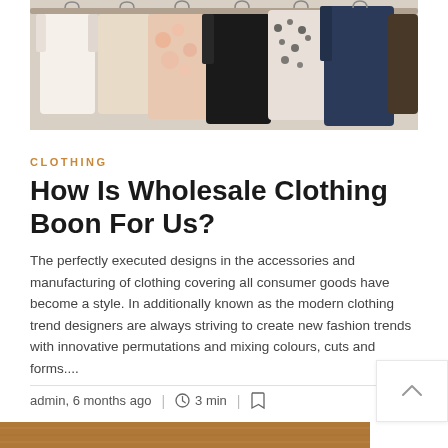[Figure (photo): Clothing rack with various garments hanging — white, pink/floral, dark/black, and patterned items visible from above.]
CLOTHING
How Is Wholesale Clothing Boon For Us?
The perfectly executed designs in the accessories and manufacturing of clothing covering all consumer goods have become a style. In additionally known as the modern clothing trend designers are always striving to create new fashion trends with innovative permutations and mixing colours, cuts and forms....
admin, 6 months ago  |  3 min  |